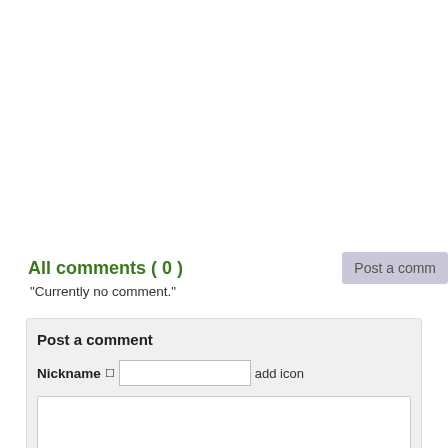All comments ( 0 )
Post a comm
“Currently no comment.”
Post a comment
Nickname  add icon
Verification code